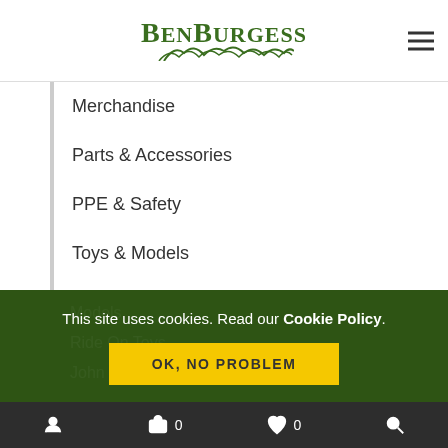BenBurgess
Merchandise
Parts & Accessories
PPE & Safety
Toys & Models
Husqvarna
Models
Ride On Toys
John Deere
This site uses cookies. Read our Cookie Policy.
OK, NO PROBLEM